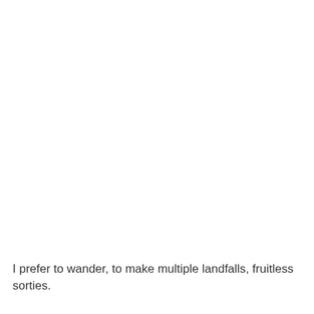I prefer to wander, to make multiple landfalls, fruitless sorties.